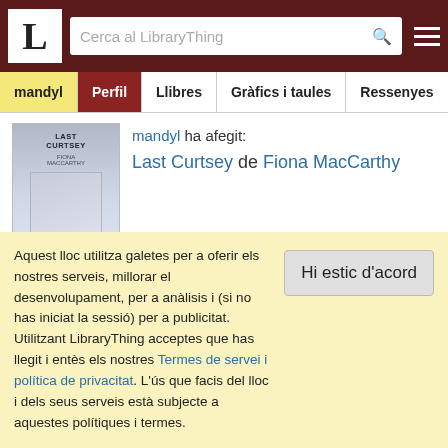L — Cerca al LibraryThing
mandyl | Perfil | Llibres | Gràfics i taules | Ressenyes
mandyl ha afegit: Last Curtsey de Fiona MacCarthy
mandyl ha afegit: Kolymsky Heights de Lionel Davidson
mandyl ha afegit:
Aquest lloc utilitza galetes per a oferir els nostres serveis, millorar el desenvolupament, per a anàlisis i (si no has iniciat la sessió) per a publicitat. Utilitzant LibraryThing acceptes que has llegit i entès els nostres Termes de servei i política de privacitat. L'ús que facis del lloc i dels seus serveis està subjecte a aquestes polítiques i termes.